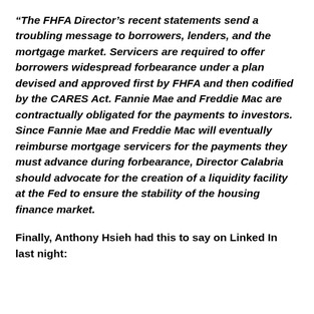“The FHFA Director’s recent statements send a troubling message to borrowers, lenders, and the mortgage market. Servicers are required to offer borrowers widespread forbearance under a plan devised and approved first by FHFA and then codified by the CARES Act. Fannie Mae and Freddie Mac are contractually obligated for the payments to investors. Since Fannie Mae and Freddie Mac will eventually reimburse mortgage servicers for the payments they must advance during forbearance, Director Calabria should advocate for the creation of a liquidity facility at the Fed to ensure the stability of the housing finance market.
Finally, Anthony Hsieh had this to say on Linked In last night: